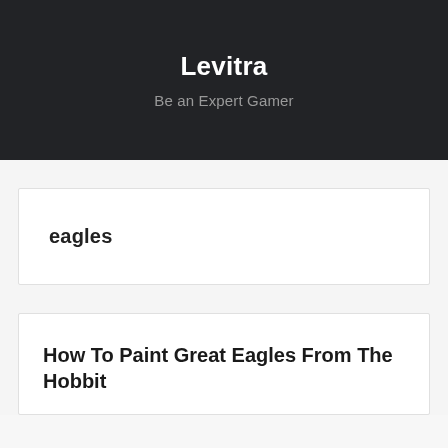Levitra
Be an Expert Gamer
eagles
How To Paint Great Eagles From The Hobbit